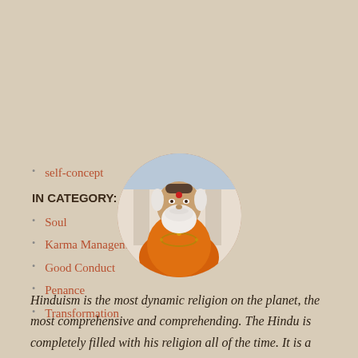self-concept
IN CATEGORY:
Soul
Karma Management
Good Conduct
Penance
Transformation
[Figure (photo): Circular portrait photo of an elderly Hindu sadhu with white beard, red bindi on forehead, wearing saffron/orange robes with mala beads, standing in front of a building.]
Hinduism is the most dynamic religion on the planet, the most comprehensive and comprehending. The Hindu is completely filled with his religion all of the time. It is a